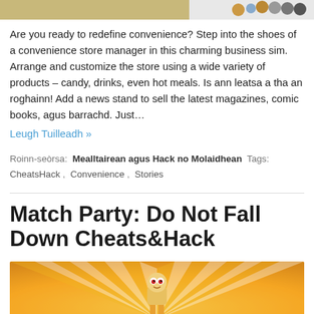[Figure (screenshot): Top banner image showing game artwork with character icons on right side]
Are you ready to redefine convenience? Step into the shoes of a convenience store manager in this charming business sim. Arrange and customize the store using a wide variety of products – candy, drinks, even hot meals. Is ann leatsa a tha an roghainn! Add a news stand to sell the latest magazines, comic books, agus barrachd. Just…
Leugh Tuilleadh »
Roinn-seòrsa:  Mealltairean agus Hack no Molaidhean  Tags:  CheatsHack ,  Convenience ,  Stories
Match Party: Do Not Fall Down Cheats&Hack
[Figure (screenshot): Orange/yellow sunburst background with a cartoon character at the bottom center]